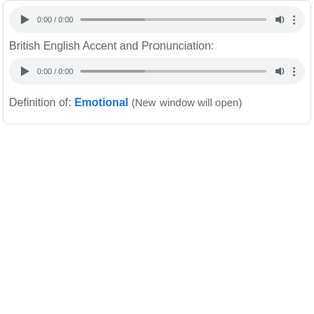[Figure (other): Audio player UI element showing 0:00 / 0:00 with play button, progress bar, volume icon, and more options (three dots)]
British English Accent and Pronunciation:
[Figure (other): Audio player UI element showing 0:00 / 0:00 with play button, progress bar, volume icon, and more options (three dots)]
Definition of: Emotional (New window will open)